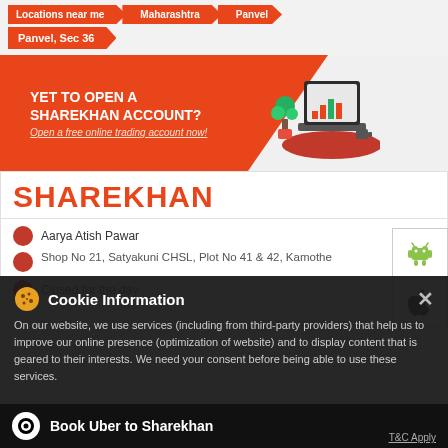Locations near me > Maharashtra > Panvel > Panvel, Sec 36
[Figure (screenshot): Orange promotional banner for Sharekhan with laptop illustration: 'YET TO OPEN A SHAREKHAN ACCOUNT? Open a free online trading account now!']
[Figure (logo): Android robot (green) and Apple logo icons for mobile app download]
SHAREKHAN
Aarya Atish Pawar
Shop No 21, Satyakuni CHSL, Plot No 41 & 42, Kamothe
Closed for the day
Cookie Information
On our website, we use services (including from third-party providers) that help us to improve our online presence (optimization of website) and to display content that is geared to their interests. We need your consent before being able to use these services.
Book Uber to Sharekhan  T&C Apply